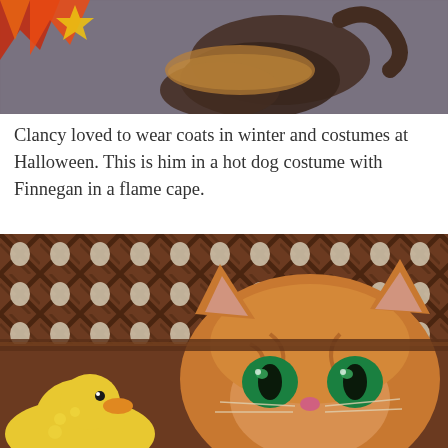[Figure (photo): Top portion of a photo showing a cat in a Halloween costume (hot dog costume) on a grey carpet, with a red flame cape visible at the top left corner. Only the lower body/tail of the cat is visible.]
Clancy loved to wear coats in winter and costumes at Halloween. This is him in a hot dog costume with Finnegan in a flame cape.
[Figure (photo): Close-up photo of an orange tabby cat with large green eyes lying behind a wicker/rattan basket, with a yellow rubber duck toy in the foreground.]